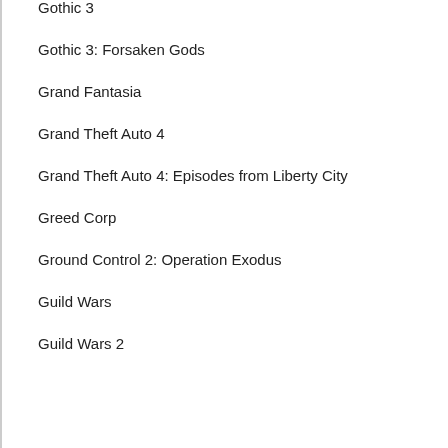Gothic 3
Gothic 3: Forsaken Gods
Grand Fantasia
Grand Theft Auto 4
Grand Theft Auto 4: Episodes from Liberty City
Greed Corp
Ground Control 2: Operation Exodus
Guild Wars
Guild Wars 2
Gun
H
Half-Life
Half-Life: Blue Shift
Half-Life: Opposing Force
Half-Life 2
Half-Life 2: Episode One
[Figure (illustration): Blue upward-pointing arrow icon in the bottom-right corner]